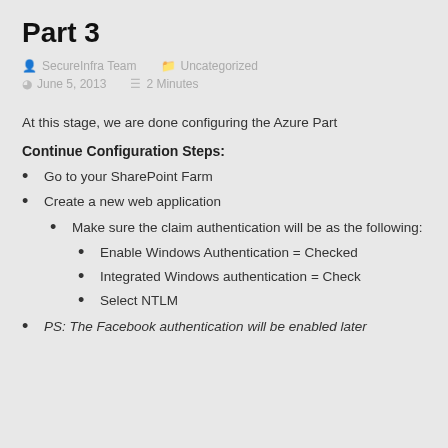Part 3
SecureInfra Team   Uncategorized
June 5, 2013   2 Minutes
At this stage, we are done configuring the Azure Part
Continue Configuration Steps:
Go to your SharePoint Farm
Create a new web application
Make sure the claim authentication will be as the following:
Enable Windows Authentication = Checked
Integrated Windows authentication = Check
Select NTLM
PS: The Facebook authentication will be enabled later